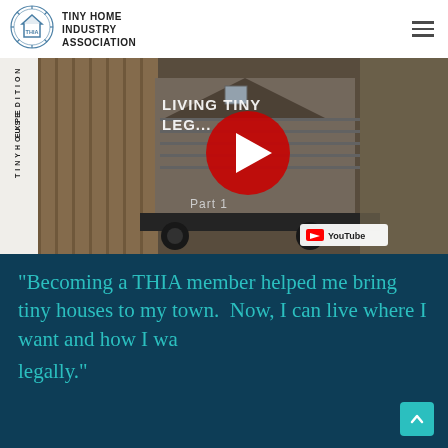[Figure (logo): THIA circular logo with house icon and gear/cog border]
TINY HOME INDUSTRY ASSOCIATION
[Figure (screenshot): YouTube video thumbnail for 'Living Tiny Legally Part 1' by Tiny House Expedition, showing a tiny house on wheels with a red play button overlay and YouTube logo]
"Becoming a THIA member helped me bring tiny houses to my town.  Now, I can live where I want and how I want, legally."